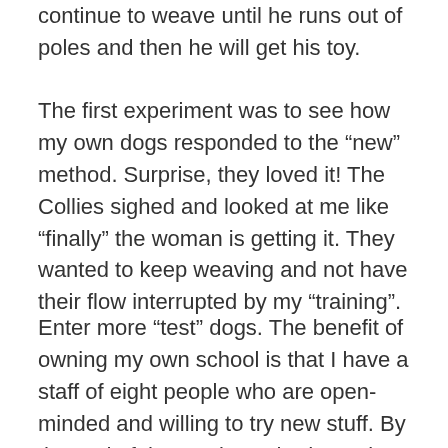continue to weave until he runs out of poles and then he will get his toy.
The first experiment was to see how my own dogs responded to the “new” method. Surprise, they loved it! The Collies sighed and looked at me like “finally” the woman is getting it. They wanted to keep weaving and not have their flow interrupted by my “training”.
Enter more “test” dogs. The benefit of owning my own school is that I have a staff of eight people who are open-minded and willing to try new stuff. By the end of the week, we had a variety of dogs weaving using the “new” method. Consistently we learned that the dog’s trained to pop needed to be re-cued to